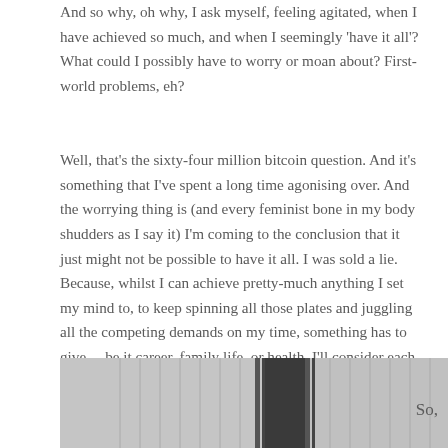And so why, oh why, I ask myself, feeling agitated, when I have achieved so much, and when I seemingly 'have it all'? What could I possibly have to worry or moan about? First-world problems, eh?
Well, that's the sixty-four million bitcoin question. And it's something that I've spent a long time agonising over. And the worrying thing is (and every feminist bone in my body shudders as I say it) I'm coming to the conclusion that it just might not be possible to have it all. I was sold a lie. Because, whilst I can achieve pretty-much anything I set my mind to, to keep spinning all those plates and juggling all the competing demands on my time, something has to give –  be it career, family life, or health. I'll consider each.
[Figure (photo): Partial view of a mechanical or industrial object, appears to be metal components with ridged/threaded sections, shown in greyscale.]
So,